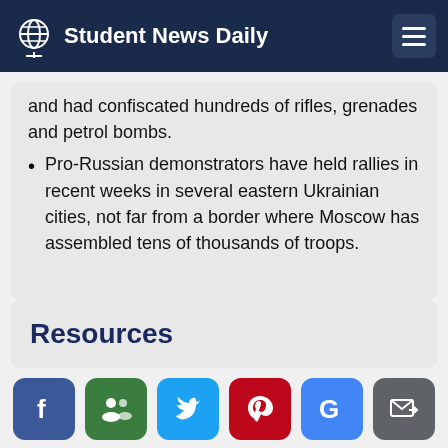Student News Daily
and had confiscated hundreds of rifles, grenades and petrol bombs.
Pro-Russian demonstrators have held rallies in recent weeks in several eastern Ukrainian cities, not far from a border where Moscow has assembled tens of thousands of troops.
Resources